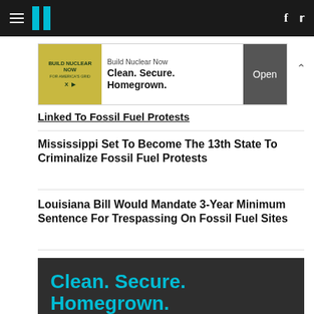HuffPost navigation with hamburger menu, logo, Facebook and Twitter icons
[Figure (other): Build Nuclear Now advertisement banner: gold/green image on left, 'Build Nuclear Now' text, 'Clean. Secure. Homegrown.' headline, and 'Open' button]
Linked To Fossil Fuel Protests
Mississippi Set To Become The 13th State To Criminalize Fossil Fuel Protests
Louisiana Bill Would Mandate 3-Year Minimum Sentence For Trespassing On Fossil Fuel Sites
[Figure (other): Dark advertisement with cyan text reading 'Clean. Secure. Homegrown.' and smaller text 'It brings the highest-']